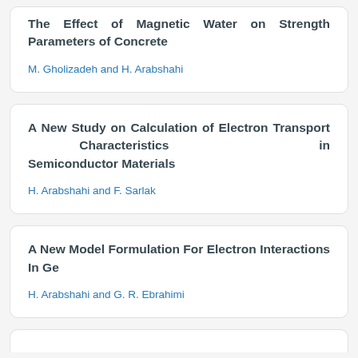The Effect of Magnetic Water on Strength Parameters of Concrete
M. Gholizadeh and H. Arabshahi
A New Study on Calculation of Electron Transport Characteristics in Semiconductor Materials
H. Arabshahi and F. Sarlak
A New Model Formulation For Electron Interactions In Ge
H. Arabshahi and G. R. Ebrahimi